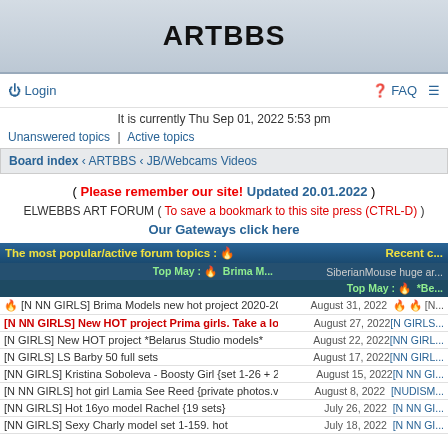ARTBBS
Login   FAQ ≡
It is currently Thu Sep 01, 2022 5:53 pm
Unanswered topics  |  Active topics
Board index ‹ ARTBBS ‹ JB/Webcams Videos
( Please remember our site! Updated 20.01.2022 ) ELWEBBS ART FORUM ( To save a bookmark to this site press (CTRL-D) ) Our Gateways click here
| Topic | Date | Recent |
| --- | --- | --- |
| 🔥 [N NN GIRLS] Brima Models new hot project 2020-2022. Hot&Sexy 🔥 | August 31, 2022 | 🔥 🔥 [N... |
| [N NN GIRLS] New HOT project Prima girls. Take a look. | August 27, 2022 | [N GIRLS... |
| [N GIRLS] New HOT project *Belarus Studio models* | August 22, 2022 | [NN GIRL... |
| [N GIRLS] LS Barby 50 full sets | August 17, 2022 | [NN GIRL... |
| [NN GIRLS] Kristina Soboleva - Boosty Girl {set 1-26 + 2 short vids} | August 15, 2022 | [N NN GI... |
| [N NN GIRLS] hot girl Lamia See Reed {private photos.videos and etc} | August 8, 2022 | [NUDISM... |
| [NN GIRLS] Hot 16yo model Rachel {19 sets} | July 26, 2022 | [N NN GI... |
| [NN GIRLS] Sexy Charly model set 1-159. hot | July 18, 2022 | [N NN GI... |